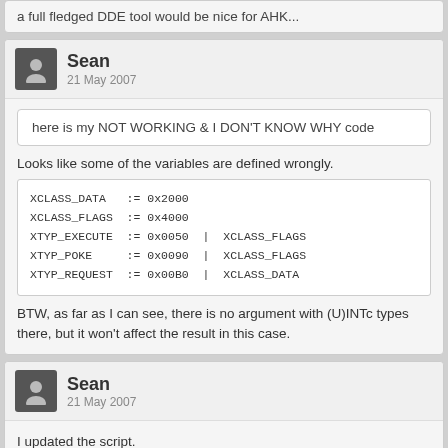a full fledged DDE tool would be nice for AHK...
Sean
21 May 2007
here is my NOT WORKING & I DON'T KNOW WHY code
Looks like some of the variables are defined wrongly.
XCLASS_DATA   := 0x2000
XCLASS_FLAGS  := 0x4000
XTYP_EXECUTE  := 0x0050  |  XCLASS_FLAGS
XTYP_POKE     := 0x0090  |  XCLASS_FLAGS
XTYP_REQUEST  := 0x00B0  |  XCLASS_DATA
BTW, as far as I can see, there is no argument with (U)INTc types there, but it won't affect the result in this case.
Sean
21 May 2007
I updated the script.
Now, there exist two versions: DDEMessage & DDEML.